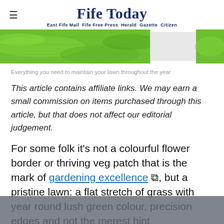Fife Today — East Fife Mail  Fife Free Press  Herald  Gazette  Citizen
[Figure (photo): Hero image of green lawn/grass with some white element visible on right side]
Everything you need to maintain your lawn throughout the year
This article contains affiliate links. We may earn a small commission on items purchased through this article, but that does not affect our editorial judgement.
For some folk it's not a colourful flower border or thriving veg patch that is the mark of gardening excellence, but a pristine lawn: a flat stretch of grass with year round lush green colour, precision edges and not the merest hint